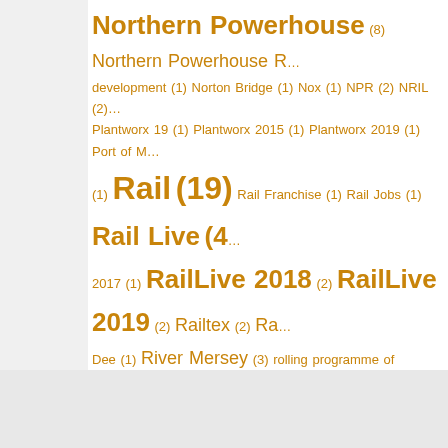Northern Powerhouse (8) Northern Powerhouse R... development (1) Norton Bridge (1) Nox (1) NPR (2) NRIL (2) Plantworx 19 (1) Plantworx 2015 (1) Plantworx 2019 (1) Port of M... (1) Rail (19) Rail Franchise (1) Rail Jobs (1) Rail Live (4) 2017 (1) RailLive 2018 (2) RailLive 2019 (2) Railtex (2) Ra... Dee (1) River Mersey (3) rolling programme of electrification (1...) RVEL (1) RVT Group (1) RWE Innogy (1) SAIP (3) Scotrail (1) S... crane (1) Siemens (4) Silver Jubilee Bridge (2) SiTESAFE... Stafford Area Improvement Progamme (3) STP (1) Straba... Thwaites (1) Toton (1) Tower Road (1) tram (2) Trans Pennine E... (1) Transport for the North (5) Transport for Wales (... Virgin Trains (1) Vivarail (9) Vp plc (1) Wacker Neuson (2...) West Midlands Trains (2) Western Link HVDC (1) Wheelabra... chipper (1) wrexham Bidston Line (1) Wrexham-Bidston line...